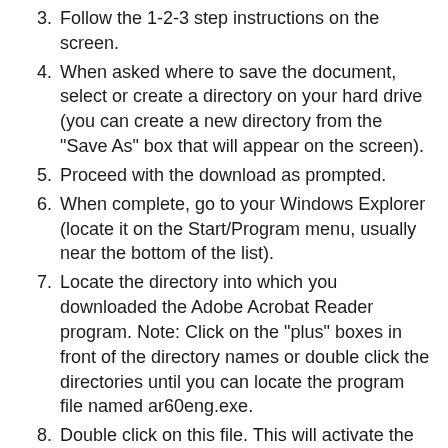3. Follow the 1-2-3 step instructions on the screen.
4. When asked where to save the document, select or create a directory on your hard drive (you can create a new directory from the "Save As" box that will appear on the screen).
5. Proceed with the download as prompted.
6. When complete, go to your Windows Explorer (locate it on the Start/Program menu, usually near the bottom of the list).
7. Locate the directory into which you downloaded the Adobe Acrobat Reader program. Note: Click on the "plus" boxes in front of the directory names or double click the directories until you can locate the program file named ar60eng.exe.
8. Double click on this file. This will activate the program and it will install on your computer. Follow the instructions on the screen to complete the process. If